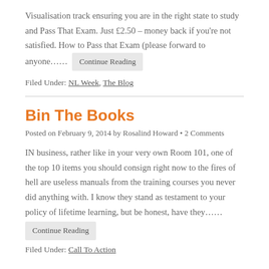Visualisation track ensuring you are in the right state to study and Pass That Exam. Just £2.50 – money back if you're not satisfied. How to Pass that Exam (please forward to anyone……  Continue Reading
Filed Under: NL Week, The Blog
Bin The Books
Posted on February 9, 2014 by Rosalind Howard • 2 Comments
IN business, rather like in your very own Room 101, one of the top 10 items you should consign right now to the fires of hell are useless manuals from the training courses you never did anything with. I know they stand as testament to your policy of lifetime learning, but be honest, have they……  Continue Reading
Filed Under: Call To Action